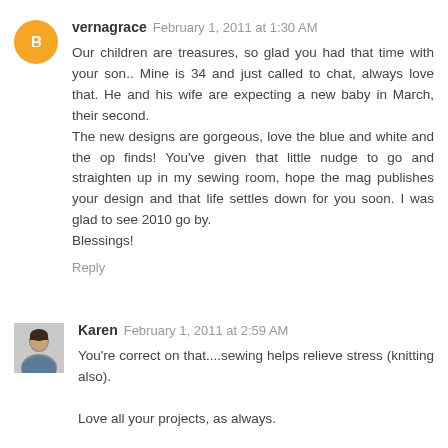vernagrace  February 1, 2011 at 1:30 AM
Our children are treasures, so glad you had that time with your son.. Mine is 34 and just called to chat, always love that. He and his wife are expecting a new baby in March, their second.
The new designs are gorgeous, love the blue and white and the op finds! You've given that little nudge to go and straighten up in my sewing room, hope the mag publishes your design and that life settles down for you soon. I was glad to see 2010 go by.
Blessings!
Reply
Karen  February 1, 2011 at 2:59 AM
You're correct on that....sewing helps relieve stress (knitting also).

Love all your projects, as always.